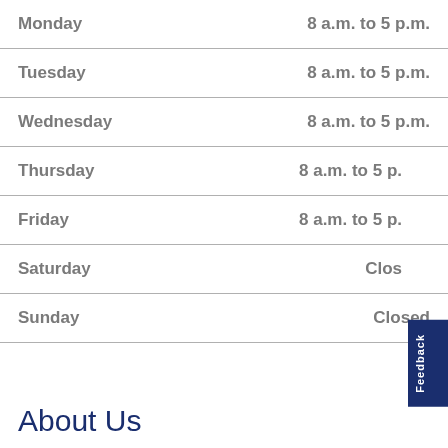| Day | Hours |
| --- | --- |
| Monday | 8 a.m. to 5 p.m. |
| Tuesday | 8 a.m. to 5 p.m. |
| Wednesday | 8 a.m. to 5 p.m. |
| Thursday | 8 a.m. to 5 p.m. |
| Friday | 8 a.m. to 5 p.m. |
| Saturday | Closed |
| Sunday | Closed |
About Us